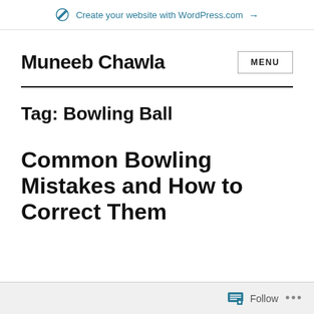Create your website with WordPress.com →
Muneeb Chawla
Tag: Bowling Ball
Common Bowling Mistakes and How to Correct Them
Follow